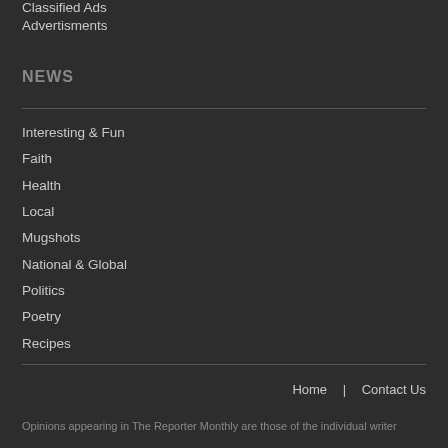Classified Ads
Advertisments
NEWS
Interesting & Fun
Faith
Health
Local
Mugshots
National & Global
Politics
Poetry
Recipes
Home | Contact Us
Opinions appearing in The Reporter Monthly are those of the individual writer